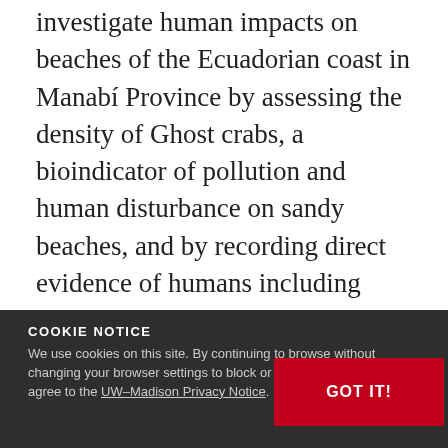investigate human impacts on beaches of the Ecuadorian coast in Manabí Province by assessing the density of Ghost crabs, a bioindicator of pollution and human disturbance on sandy beaches, and by recording direct evidence of humans including plastic waste and vehicle tracks. Conner will also present on the values of biodiversity and coastal ecosystem health at several schools with whom Ceiba has already worked and involve Ecuadorian students in data collection.
COOKIE NOTICE
We use cookies on this site. By continuing to browse without changing your browser settings to block or delete cookies, you agree to the UW–Madison Privacy Notice.
GOT IT!
Student: Jan Woelm...
Faculty Advisor: Jud...